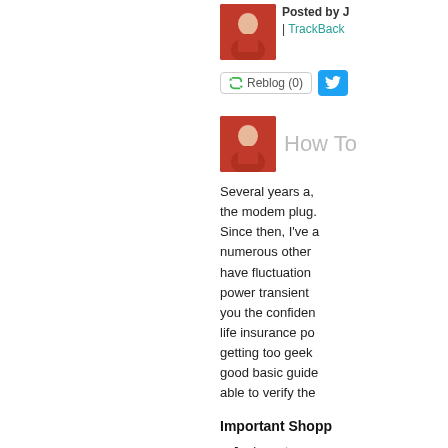Posted by J | TrackBack
Reblog (0)
How To
Several years a, the modem plug. Since then, I've a numerous other have fluctuation power transient you the confiden life insurance po getting too geek good basic guide able to verify the
Important Shopp
Joules rat